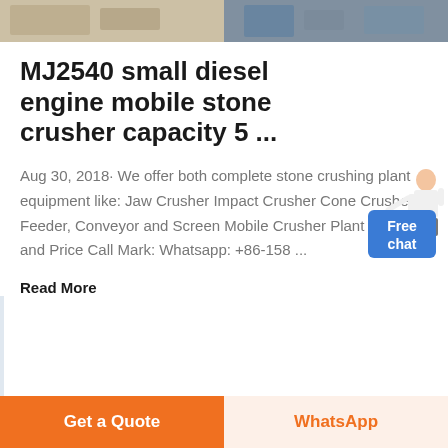[Figure (photo): Two product/site images side by side at top of page — left shows a sandy/construction site, right shows a crusher or industrial equipment]
MJ2540 small diesel engine mobile stone crusher capacity 5 ...
Aug 30, 2018· We offer both complete stone crushing plant equipment like: Jaw Crusher Impact Crusher Cone Crusher Feeder, Conveyor and Screen Mobile Crusher Plant Details and Price Call Mark: Whatsapp: +86-158 ...
Read More
[Figure (photo): Partial thumbnails of product images at bottom of content area]
[Figure (illustration): Free chat button with female character illustration in top right corner]